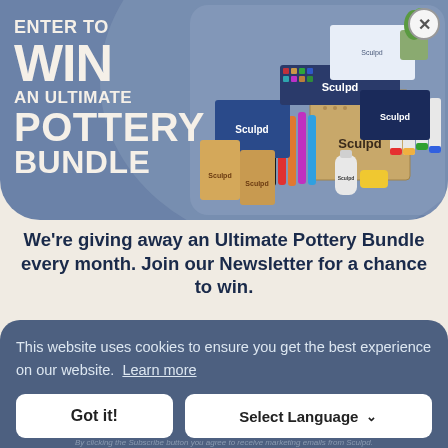[Figure (photo): Hero banner showing 'Enter to Win an Ultimate Pottery Bundle' text on blue-grey background with Sculpd pottery kit products on the right side]
We're giving away an Ultimate Pottery Bundle every month. Join our Newsletter for a chance to win.
This website uses cookies to ensure you get the best experience on our website. Learn more
Got it!
Select Language
By clicking the Subscribe button you agree to receive marketing emails from Sculpd.